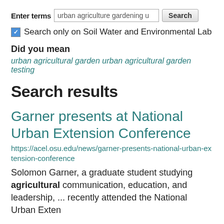Enter terms  urban agriculture gardening u  Search
Search only on Soil Water and Environmental Lab
Did you mean
urban agricultural garden urban agricultural garden testing
Search results
Garner presents at National Urban Extension Conference
https://acel.osu.edu/news/garner-presents-national-urban-extension-conference
Solomon Garner, a graduate student studying agricultural communication, education, and leadership, ... recently attended the National Urban Exten...